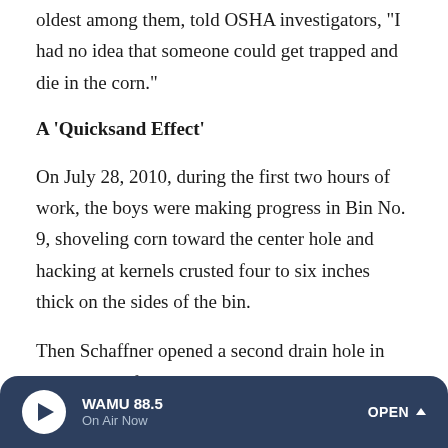oldest among them, told OSHA investigators, "I had no idea that someone could get trapped and die in the corn."
A 'Quicksand Effect'
On July 28, 2010, during the first two hours of work, the boys were making progress in Bin No. 9, shoveling corn toward the center hole and hacking at kernels crusted four to six inches thick on the sides of the bin.
Then Schaffner opened a second drain hole in the bottom of the bin, according to Piper and the account in Schaffner's Labor Department deposition. Beneath the drain holes, a conveyor belt carried the corn away. The flowing corn inside
WAMU 88.5 · On Air Now · OPEN